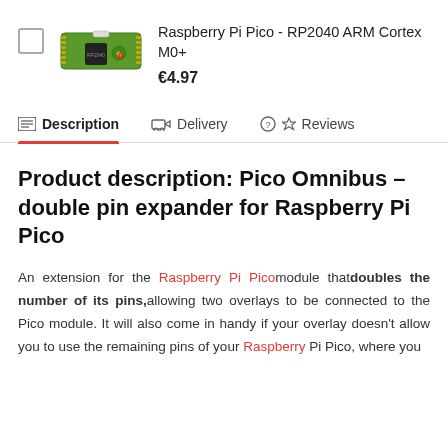[Figure (photo): Raspberry Pi Pico board - small green microcontroller PCB with gold pins along both sides]
Raspberry Pi Pico - RP2040 ARM Cortex M0+
€4.97
Description | Delivery | Reviews
Product description: Pico Omnibus - double pin expander for Raspberry Pi Pico
An extension for the Raspberry Pi Pico module that doubles the number of its pins, allowing two overlays to be connected to the Pico module. It will also come in handy if your overlay doesn't allow you to use the remaining pins of your Raspberry Pi Pico, where you